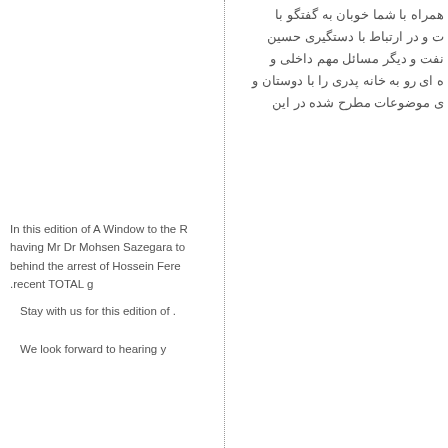همراه با شما خوبان به گفتگو با
ت و در ارتباط با دستگیری حسین
نفت و دیگر مسائل مهم داخلی و
ه ای رو به خانه پدری را با دوستان و
ی موضوعات مطرح شده در این
In this edition of A Window to the R having Mr Dr Mohsen Sazegara to behind the arrest of Hossein Fere .recent TOTAL g

Stay with us for this edition of .

We look forward to hearing y